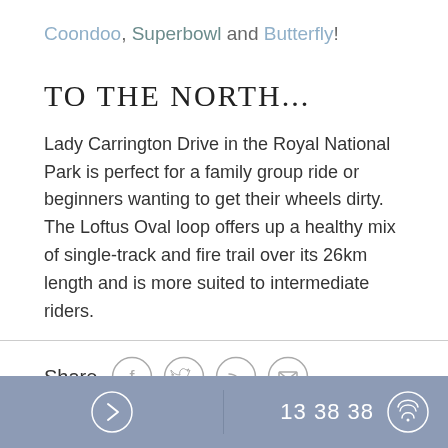Coondoo, Superbowl and Butterfly!
TO THE NORTH...
Lady Carrington Drive in the Royal National Park is perfect for a family group ride or beginners wanting to get their wheels dirty. The Loftus Oval loop offers up a healthy mix of single-track and fire trail over its 26km length and is more suited to intermediate riders.
Share
13 38 38